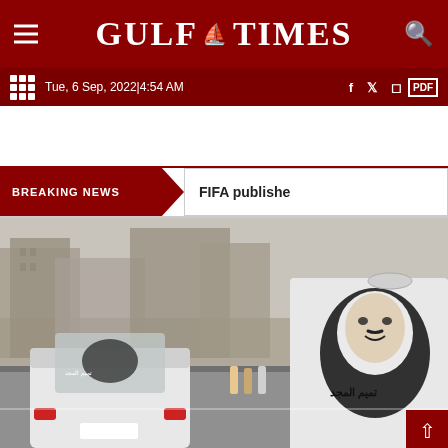GULF TIMES
Tue, 6 Sep, 2022|4:54 AM
BREAKING NEWS
FIFA publishe
[Figure (photo): Street scene with white cars decorated with Arabic calligraphy and a portrait on a large vehicle, likely in Qatar]